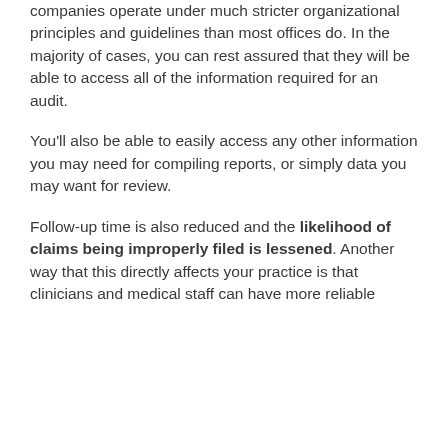companies operate under much stricter organizational principles and guidelines than most offices do. In the majority of cases, you can rest assured that they will be able to access all of the information required for an audit.
You'll also be able to easily access any other information you may need for compiling reports, or simply data you may want for review.
Follow-up time is also reduced and the likelihood of claims being improperly filed is lessened. Another way that this directly affects your practice is that clinicians and medical staff can have more reliable